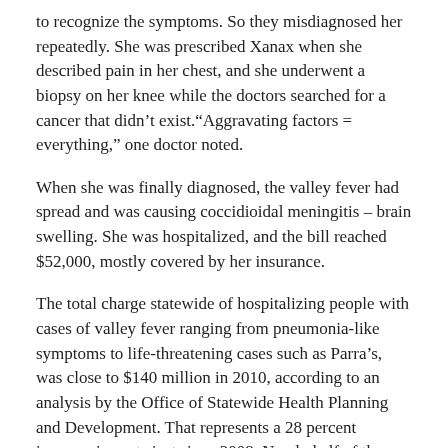to recognize the symptoms. So they misdiagnosed her repeatedly. She was prescribed Xanax when she described pain in her chest, and she underwent a biopsy on her knee while the doctors searched for a cancer that didn't exist.“Aggravating factors = everything,” one doctor noted.
When she was finally diagnosed, the valley fever had spread and was causing coccidioidal meningitis – brain swelling. She was hospitalized, and the bill reached $52,000, mostly covered by her insurance.
The total charge statewide of hospitalizing people with cases of valley fever ranging from pneumonia-like symptoms to life-threatening cases such as Parra’s, was close to $140 million in 2010, according to an analysis by the Office of Statewide Health Planning and Development. That represents a 28 percent increase in costs just since 2008. Nearly half of those charges came from the eight-county San Joaquín Valley, which holds about 10 percent of the state’s population.